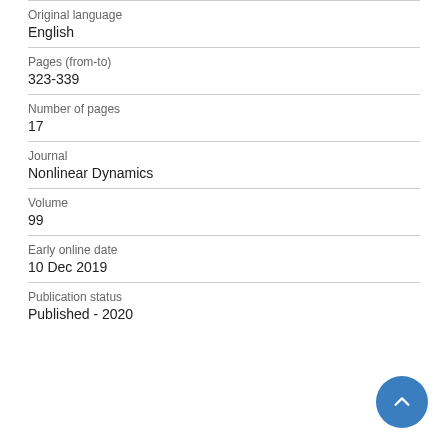Original language
English
Pages (from-to)
323-339
Number of pages
17
Journal
Nonlinear Dynamics
Volume
99
Early online date
10 Dec 2019
Publication status
Published - 2020